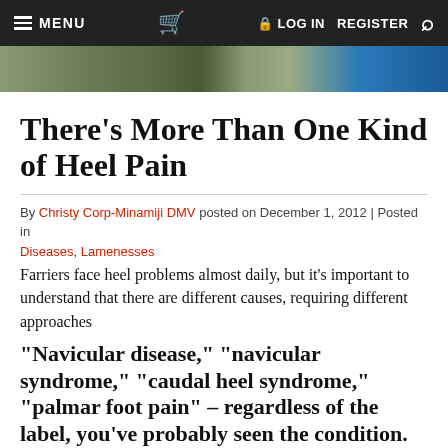MENU  [cart]  LOG IN  REGISTER  [search]
[Figure (photo): Partial hero image showing outdoor/animal scene with blue element on right]
There's More Than One Kind of Heel Pain
By Christy Corp-Minamiji DMV posted on December 1, 2012 | Posted in Diseases, Lamenesses
Farriers face heel problems almost daily, but it's important to understand that there are different causes, requiring different approaches
“Navicular disease,” “navicular syndrome,” “caudal heel syndrome,” “palmar foot pain” – regardless of the label, you’ve probably seen the condition. The chronic, shifting front